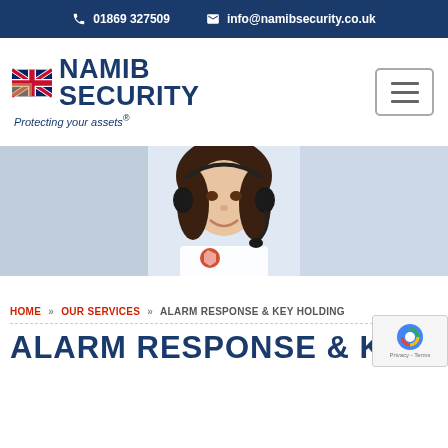01869 327509   info@namibsecurity.co.uk
[Figure (logo): Namib Security logo with UK flag and tagline 'Protecting your assets®']
[Figure (photo): Woman wearing a headset and uniform, smiling, call center / security control room background]
HOME » OUR SERVICES » ALARM RESPONSE & KEY HOLDING
ALARM RESPONSE & KEY